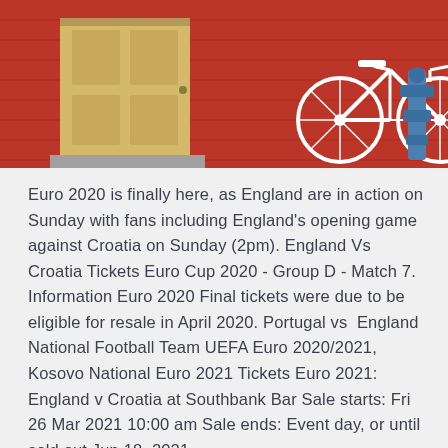[Figure (photo): A white bicycle leaning against a red brick wall next to a yellow door and a blue pipe/valve fixture.]
Euro 2020 is finally here, as England are in action on Sunday with fans including England's opening game against Croatia on Sunday (2pm). England Vs Croatia Tickets Euro Cup 2020 - Group D - Match 7. Information Euro 2020 Final tickets were due to be eligible for resale in April 2020. Portugal vs England National Football Team UEFA Euro 2020/2021, Kosovo National Euro 2021 Tickets Euro 2021: England v Croatia at Southbank Bar Sale starts: Fri 26 Mar 2021 10:00 am Sale ends: Event day, or until sold out Jun 18, 2021.